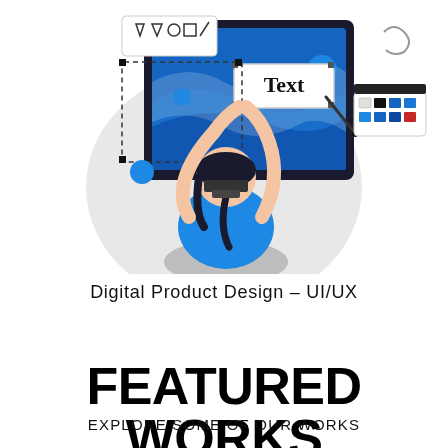[Figure (illustration): Flat vector illustration of a person sitting at a desk working on a large monitor, holding a 'Text' label card, surrounded by UI design tools including a dashed bounding box, toolbar with shape/arrow tools, and a color swatch panel. The person wears a blue top and has dark hair. Background includes a light gray circular shape.]
Digital Product Design – UI/UX
FEATURED WORKS
EXPLORE SOME OF OUR WORKS